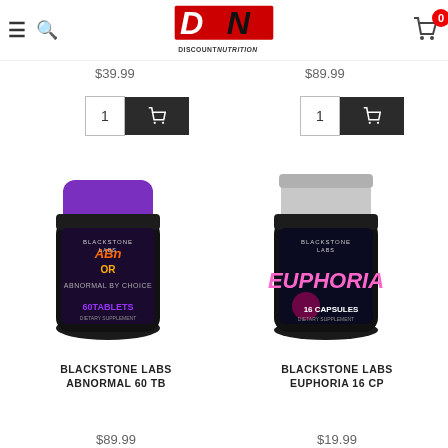Discount Nutrition - navigation header with logo, search, and cart
$39.99
$89.99
[Figure (photo): Blackstone Labs Abnormal 60 TB supplement bottle with purple cap and black label]
[Figure (photo): Blackstone Labs Euphoria 16 Capsules supplement bottle with white cap and black/pink label]
BLACKSTONE LABS ABNORMAL 60 TB
BLACKSTONE LABS EUPHORIA 16 CP
$89.99
$19.99